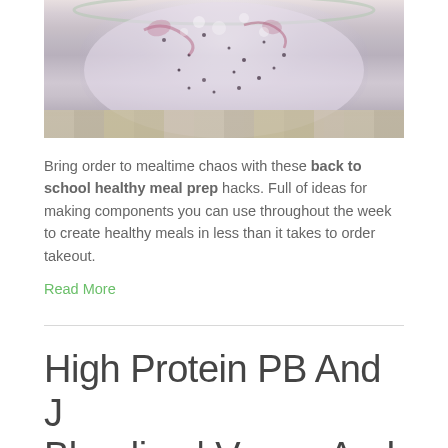[Figure (photo): A glass jar containing a white/light purple smoothie or pudding with dark speckles (likely chia seeds) and pink/red berry swirls, sitting on a rustic wooden surface]
Bring order to mealtime chaos with these back to school healthy meal prep hacks. Full of ideas for making components you can use throughout the week to create healthy meals in less than it takes to order takeout.
Read More
High Protein PB And J Blondies | Vegan And